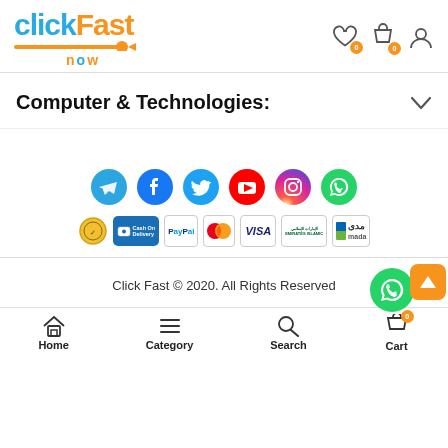[Figure (logo): clickFast now logo with blue 'click', orange 'Fast', and orange 'now' text with orange underline stripe]
[Figure (infographic): Header icons: heart/wishlist with badge 0, shopping bag with badge 0, user account icon]
Computer & Technologies:
[Figure (infographic): Social media icons row: Telegram, Facebook, Twitter, YouTube, Instagram, WhatsApp]
[Figure (infographic): Payment method logos: gold seal, Cash On Delivery, PayPal, Mastercard, VISA, Emirates Islamic, mada]
Click Fast © 2020. All Rights Reserved
[Figure (infographic): Bottom navigation bar: Home, Category, Search, Cart (with badge 0)]